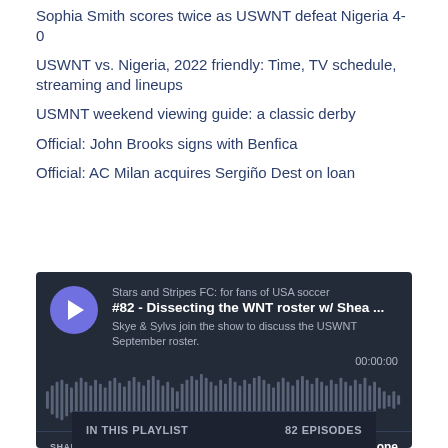Sophia Smith scores twice as USWNT defeat Nigeria 4-0
USWNT vs. Nigeria, 2022 friendly: Time, TV schedule, streaming and lineups
USMNT weekend viewing guide: a classic derby
Official: John Brooks signs with Benfica
Official: AC Milan acquires Sergiño Dest on loan
[Figure (screenshot): Podcast player widget for 'Stars and Stripes FC' episode #82 - Dissecting the WNT roster w/ Shea ... Hosted by Skye & Sylvs. Shows play button, waveform, timestamp 00:00:00, SHARE SUBSCRIBE COOKIE POLICY DESCRIPTION controls, Megaphone logo, and playlist footer showing IN THIS PLAYLIST / 82 EPISODES.]